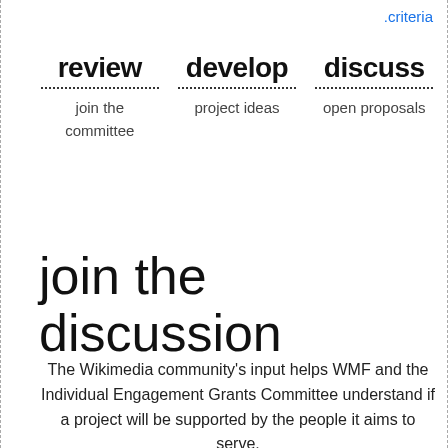.criteria
review
join the committee
develop
project ideas
discuss
open proposals
join the discussion
The Wikimedia community's input helps WMF and the Individual Engagement Grants Committee understand if a project will be supported by the people it aims to serve.